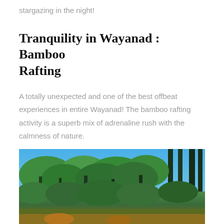stargazing in the night!
Tranquility in Wayanad : Bamboo Rafting
A totally unexpected and one of the best offbeat experiences in entire Wayanad! The bamboo rafting activity is a superb mix of adrenaline rush with the calmness of nature.
[Figure (photo): Outdoor jungle/forest scene with tall trees and lush green canopy under a bright blue sky, likely in Wayanad, India]